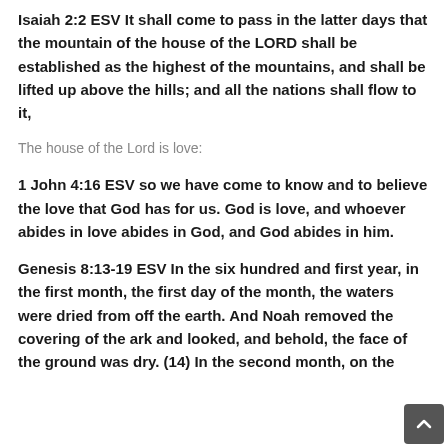Isaiah 2:2 ESV It shall come to pass in the latter days that the mountain of the house of the LORD shall be established as the highest of the mountains, and shall be lifted up above the hills; and all the nations shall flow to it,
The house of the Lord is love:
1 John 4:16 ESV so we have come to know and to believe the love that God has for us. God is love, and whoever abides in love abides in God, and God abides in him.
Genesis 8:13-19 ESV In the six hundred and first year, in the first month, the first day of the month, the waters were dried from off the earth. And Noah removed the covering of the ark and looked, and behold, the face of the ground was dry. (14) In the second month, on the